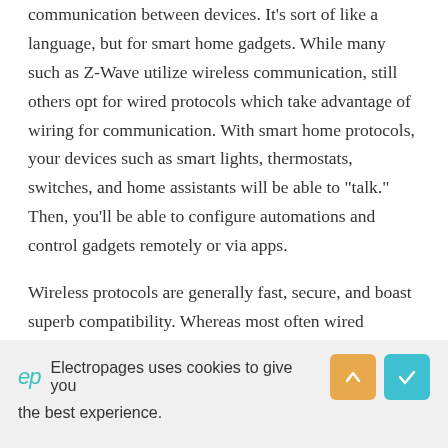communication between devices. It's sort of like a language, but for smart home gadgets. While many such as Z-Wave utilize wireless communication, still others opt for wired protocols which take advantage of wiring for communication. With smart home protocols, your devices such as smart lights, thermostats, switches, and home assistants will be able to "talk." Then, you'll be able to configure automations and control gadgets remotely or via apps.
Wireless protocols are generally fast, secure, and boast superb compatibility. Whereas most often wired connections yield increased security and speed, wired smart home protocols such as X10 and UPB are plagued by
If you found this article interesting, you'll also enjoy the
Electropages uses cookies to give you the best experience.